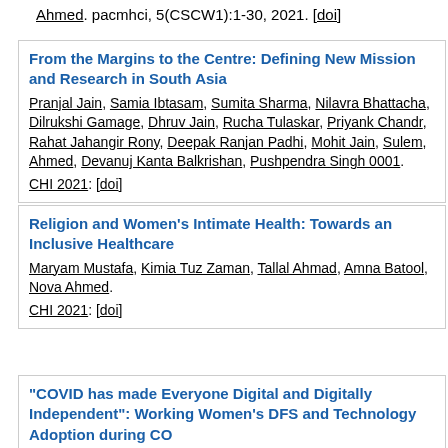Ahmed. pacmhci, 5(CSCW1):1-30, 2021. [doi]
From the Margins to the Centre: Defining New Mission and Research in South Asia
Pranjal Jain, Samia Ibtasam, Sumita Sharma, Nilavra Bhattacha, Dilrukshi Gamage, Dhruv Jain, Rucha Tulaskar, Priyank Chandr, Rahat Jahangir Rony, Deepak Ranjan Padhi, Mohit Jain, Sulem, Ahmed, Devanuj Kanta Balkrishan, Pushpendra Singh 0001. CHI 2021: [doi]
Religion and Women's Intimate Health: Towards an Inclusive Healthcare
Maryam Mustafa, Kimia Tuz Zaman, Tallal Ahmad, Amna Batool, Nova Ahmed. CHI 2021: [doi]
"COVID has made Everyone Digital and Digitally Independent": Working Women's DFS and Technology Adoption during CO